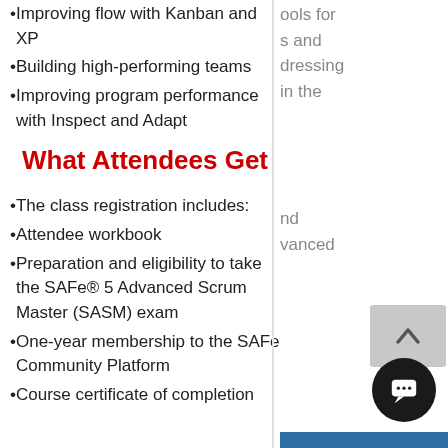Improving flow with Kanban and XP
Building high-performing teams
Improving program performance with Inspect and Adapt
What Attendees Get
The class registration includes:
Attendee workbook
Preparation and eligibility to take the SAFe® 5 Advanced Scrum Master (SASM) exam
One-year membership to the SAFe Community Platform
Course certificate of completion